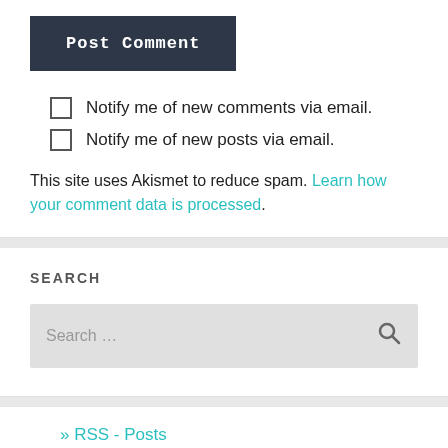Post Comment
Notify me of new comments via email.
Notify me of new posts via email.
This site uses Akismet to reduce spam. Learn how your comment data is processed.
SEARCH
Search ...
» RSS - Posts
» RSS - Comments